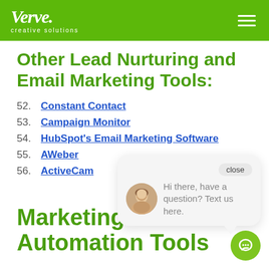Verve. creative solutions
Other Lead Nurturing and Email Marketing Tools:
52. Constant Contact
53. Campaign Monitor
54. HubSpot's Email Marketing Software
55. AWeber
56. ActiveCam[paign]
[Figure (screenshot): Chat popup widget with avatar photo of a woman and text: 'Hi there, have a question? Text us here.' with a close button and chat bubble tail]
Marketing Automation Tools